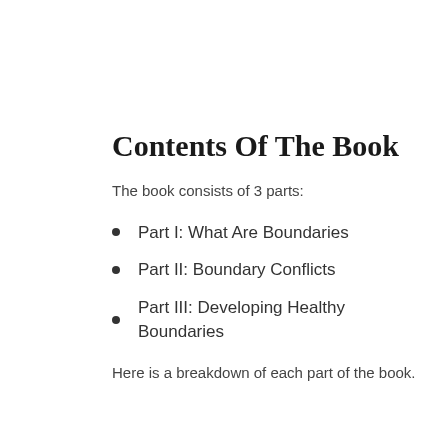Contents Of The Book
The book consists of 3 parts:
Part I: What Are Boundaries
Part II: Boundary Conflicts
Part III: Developing Healthy Boundaries
Here is a breakdown of each part of the book.